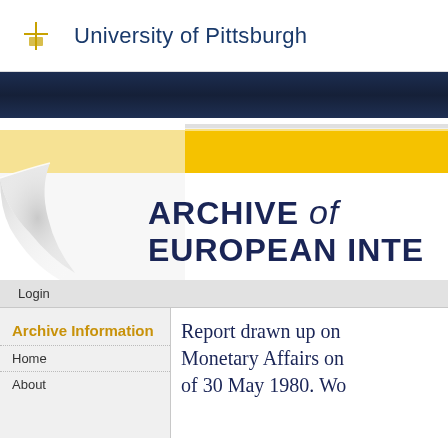University of Pittsburgh
[Figure (screenshot): Archive of European Integration website screenshot showing the University of Pittsburgh logo at top, a dark navy banner, a decorative yellow-and-white page-curl graphic with the text 'ARCHIVE of EUROPEAN INTE[GRATION]', a login bar, a left sidebar with 'Archive Information', 'Home', 'About' navigation links, and a right content area beginning 'Report drawn up on... Monetary Affairs on... of 30 May 1980 Wo...']
Archive Information
Home
About
Report drawn up on... Monetary Affairs on... of 30 May 1980 Wo...